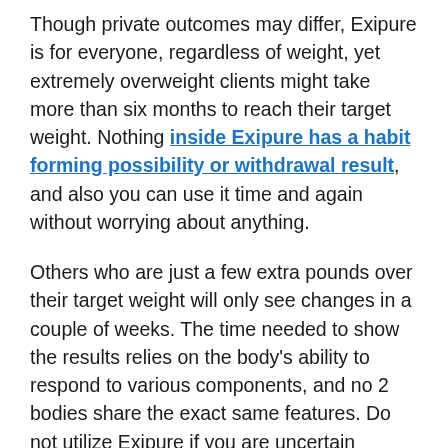Though private outcomes may differ, Exipure is for everyone, regardless of weight, yet extremely overweight clients might take more than six months to reach their target weight. Nothing inside Exipure has a habit forming possibility or withdrawal result, and also you can use it time and again without worrying about anything.
Others who are just a few extra pounds over their target weight will only see changes in a couple of weeks. The time needed to show the results relies on the body's ability to respond to various components, and no 2 bodies share the exact same features. Do not utilize Exipure if you are uncertain regarding its use, or speak with a doctor for more information regarding supplement safety.